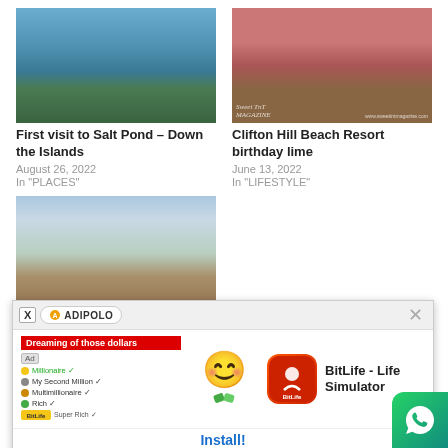[Figure (photo): Aerial/distant view of Salt Pond – Down the Islands, showing green hills and calm water]
First visit to Salt Pond – Down the Islands
August 26, 2022
In "PLACES"
[Figure (photo): Group of smiling people at Clifton Hill Beach Resort, selfie style with watermark Sweet TnT Magazine]
Clifton Hill Beach Resort birthday lime
June 13, 2022
In "LIFESTYLE"
[Figure (photo): Icacos beach at the end of Trinidad, showing rocks, sand, palm trees and sea, with Sweet TnT watermark]
Icacos at the end of Trinidad
December ...
In "PL..."
[Figure (screenshot): Advertisement overlay: BitLife - Life Simulator app install ad with AdPolo branding, smiley face, and Install button]
[Figure (logo): WhatsApp floating button in green]